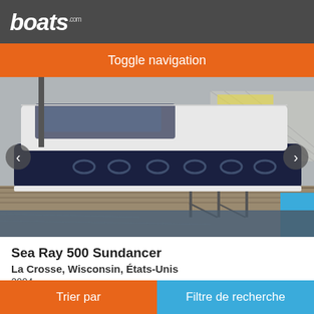boats.com
Toggle navigation
[Figure (photo): A white and navy blue Sea Ray 500 Sundancer motorboat docked at a marina on a pier, with other boats and a metal structure visible in the background. Navigation arrows are visible on left and right sides of the photo.]
Sea Ray 500 Sundancer
La Crosse, Wisconsin, États-Unis
2004
€384 328
Vendeur particulier
Trier par    Filtre de recherche